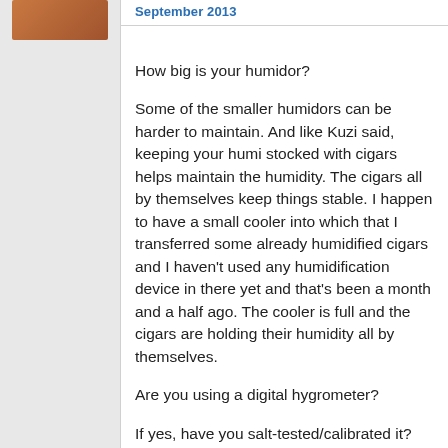September 2013
How big is your humidor?
Some of the smaller humidors can be harder to maintain. And like Kuzi said, keeping your humi stocked with cigars helps maintain the humidity. The cigars all by themselves keep things stable. I happen to have a small cooler into which that I transferred some already humidified cigars and I haven't used any humidification device in there yet and that's been a month and a half ago. The cooler is full and the cigars are holding their humidity all by themselves.
Are you using a digital hygrometer?
If yes, have you salt-tested/calibrated it? Accurate readings are important.